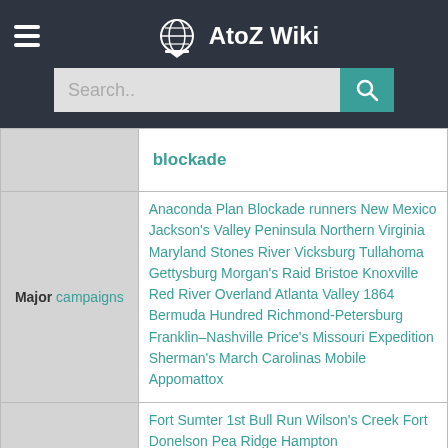AtoZ Wiki
|  |  |
| --- | --- |
|  | blockade |
| Major campaigns | Anaconda Plan Blockade runners New Mexico Jackson's Valley Peninsula Northern Virginia Maryland Stones River Vicksburg Tullahoma Gettysburg Morgan's Raid Bristoe Knoxville Red River Overland Atlanta Valley 1864 Bermuda Hundred Richmond-Petersburg Franklin–Nashville Price's Missouri Expedition Sherman's March Carolinas Mobile Appomattox |
|  | Fort Sumter 1st Bull Run Wilson's Creek Fort Donelson Pea Ridge Hampton |